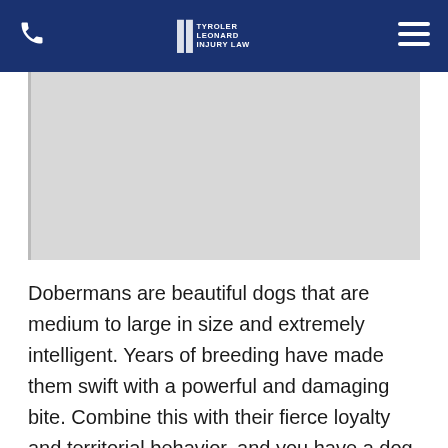Tyroler Leonard Injury Law — navigation bar with phone icon, logo, and menu icon
[Figure (photo): Large light grey placeholder image area representing a hero/banner photo on the webpage]
Dobermans are beautiful dogs that are medium to large in size and extremely intelligent. Years of breeding have made them swift with a powerful and damaging bite. Combine this with their fierce loyalty and territorial behavior, and you have a dog that will protect its territory and family from anything.